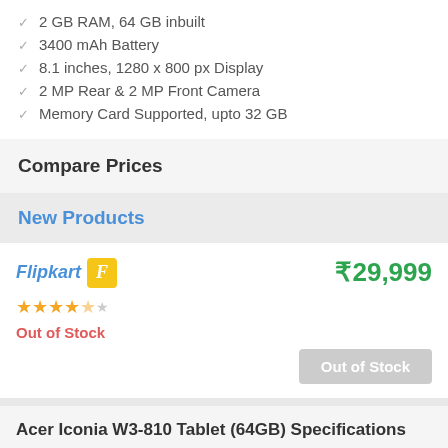2 GB RAM, 64 GB inbuilt
3400 mAh Battery
8.1 inches, 1280 x 800 px Display
2 MP Rear & 2 MP Front Camera
Memory Card Supported, upto 32 GB
Compare Prices
New Products
Flipkart ₹29,999 Out of Stock
Acer Iconia W3-810 Tablet (64GB) Specifications
SPECS SCORE
Below Average
Group: ₹25,000 to ₹35,000